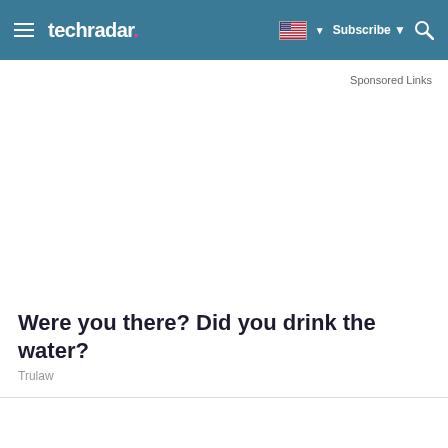techradar | Subscribe
Sponsored Links
[Figure (other): Advertisement placeholder area (blank white space)]
Were you there? Did you drink the water?
Trulaw